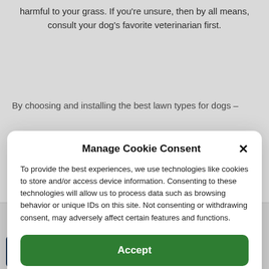harmful to your grass. If you're unsure, then by all means, consult your dog's favorite veterinarian first.
By choosing and installing the best lawn types for dogs –
Manage Cookie Consent
To provide the best experiences, we use technologies like cookies to store and/or access device information. Consenting to these technologies will allow us to process data such as browsing behavior or unique IDs on this site. Not consenting or withdrawing consent, may adversely affect certain features and functions.
Accept
Cookie Policy
pet under.
← Previous Post
Next Post →